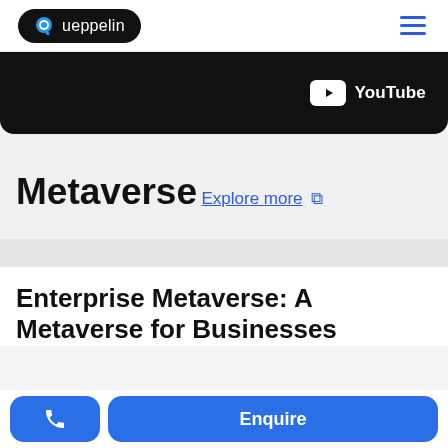[Figure (logo): Queppelin logo in black pill/capsule shape with blue chat-bubble Q icon and white text]
[Figure (other): Hamburger menu icon with three blue horizontal lines]
[Figure (other): Black banner with YouTube badge (white YouTube play button icon and white YouTube text)]
Metaverse
Explore more ↗
Enterprise Metaverse: A Metaverse for Businesses
[Figure (other): Phone call button (blue rounded rectangle with white phone icon)]
Enquire